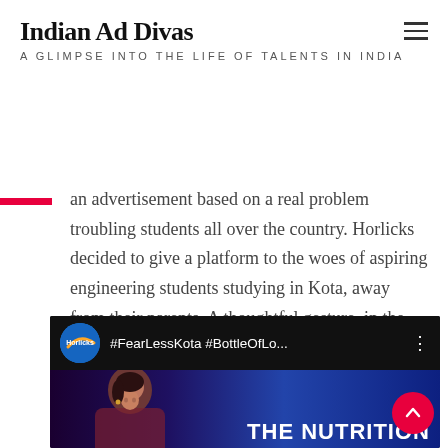Indian Ad Divas
A GLIMPSE INTO THE LIFE OF TALENTS IN INDIA
an advertisement based on a real problem troubling students all over the country. Horlicks decided to give a platform to the woes of aspiring engineering students studying in Kota, away from their parents. A thoughtful gesture, in the end, made the ad even more heart-warming.
[Figure (screenshot): YouTube video thumbnail showing Horlicks logo and title '#FearLessKota #BottleOfLo...' with a woman in the lower portion and text 'THE NUTRITION' overlaid]